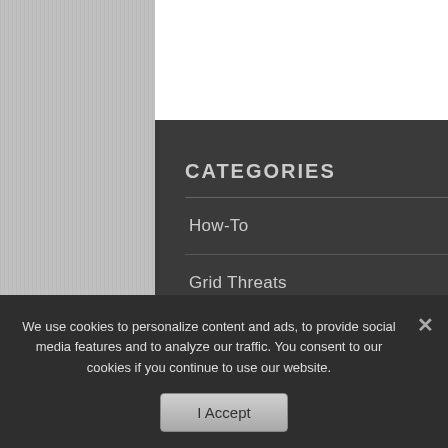CATEGORIES
How-To
Grid Threats
Extreme Survival
Survival Gardening
Off-Grid Foods
Worldview
We use cookies to personalize content and ads, to provide social media features and to analyze our traffic. You consent to our cookies if you continue to use our website.
I Accept